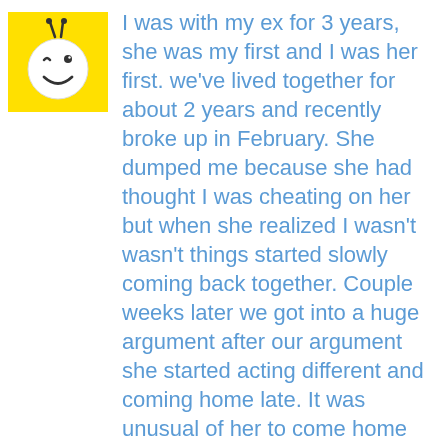[Figure (illustration): Yellow square avatar with a cartoon bee or smiley face character — circular face with a wink, smile, and small antennae on a yellow background]
I was with my ex for 3 years, she was my first and I was her first. we've lived together for about 2 years and recently broke up in February. She dumped me because she had thought I was cheating on her but when she realized I wasn't wasn't things started slowly coming back together. Couple weeks later we got into a huge argument after our argument she started acting different and coming home late. It was unusual of her to come home late because she's a nurse and her schedule required her to work the 5-7 shift. I would stay up until she got home to talk about her why she's been coming home late, she would she grab whatever she needed and she would leave again and not come back home until about 2 or 3 am. One day she gets texted saying she needed her space and